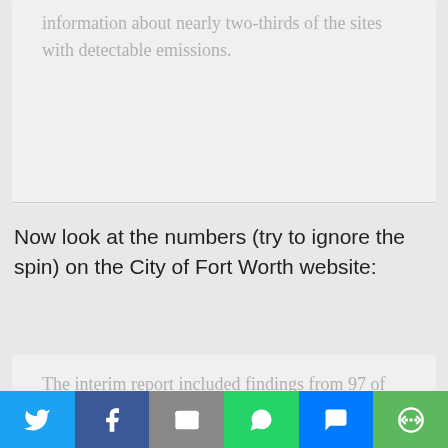directory, the interim report provided its information about nearly two-thirds of the sites with detectable emissions.
Now look at the numbers (try to ignore the spin) on the City of Fort Worth website:
The interim report included findings from 97 of the 201 sampled gas well sites. Of the well pad sites studied to date, 31 showed no detectable emissions, and 55 had emissions below the threshold for the basic air permit from the Texas
[Figure (infographic): Social sharing bar with Twitter, Facebook, Email, WhatsApp, SMS, and More buttons]